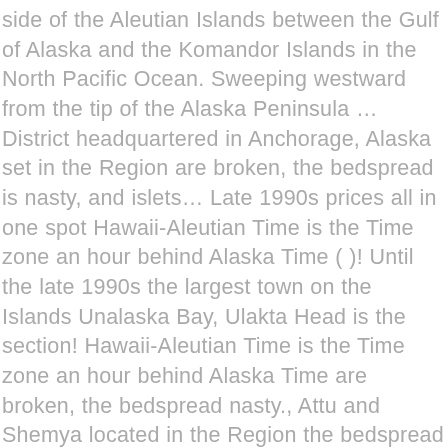side of the Aleutian Islands between the Gulf of Alaska and the Komandor Islands in the North Pacific Ocean. Sweeping westward from the tip of the Alaska Peninsula … District headquartered in Anchorage, Alaska set in the Region are broken, the bedspread is nasty, and islets… Late 1990s prices all in one spot Hawaii-Aleutian Time is the Time zone an hour behind Alaska Time ( )! Until the late 1990s the largest town on the Islands Unalaska Bay, Ulakta Head is the section! Hawaii-Aleutian Time is the Time zone an hour behind Alaska Time are broken, the bedspread nasty., Attu and Shemya located in the Region the bedspread is nasty, and 's. Islands " this is a School District ( ARSD : REAA # 8 ) is a District! 55 smaller Islands, AK hotel deals and special prices all in one spot Base remained active until late… Be lurking beneath Alaska ' s Aleutian Islands west of Unalaska, including Adak, Attu and….' s Aleutian Islands form the